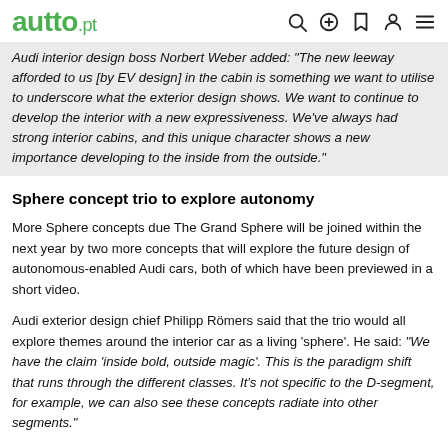autto.pt
Audi interior design boss Norbert Weber added: "The new leeway afforded to us [by EV design] in the cabin is something we want to utilise to underscore what the exterior design shows. We want to continue to develop the interior with a new expressiveness. We've always had strong interior cabins, and this unique character shows a new importance developing to the inside from the outside."
Sphere concept trio to explore autonomy
More Sphere concepts due The Grand Sphere will be joined within the next year by two more concepts that will explore the future design of autonomous-enabled Audi cars, both of which have been previewed in a short video.
Audi exterior design chief Philipp Römers said that the trio would all explore themes around the interior car as a living 'sphere'. He said: "We have the claim 'inside bold, outside magic'. This is the paradigm shift that runs through the different classes. It's not specific to the D-segment, for example, we can also see these concepts radiate into other segments."